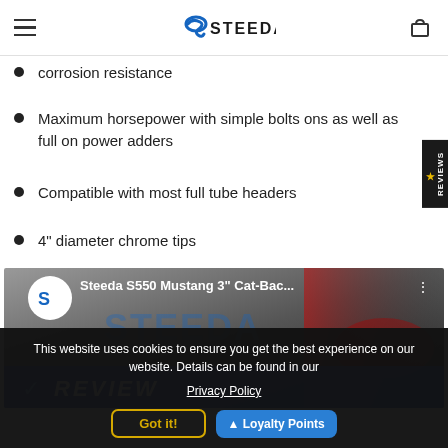Steeda (logo) navigation bar with hamburger menu and cart icon
corrosion resistance
Maximum horsepower with simple bolts ons as well as full on power adders
Compatible with most full tube headers
4" diameter chrome tips
[Figure (screenshot): YouTube video thumbnail for Steeda S550 Mustang 3" Cat-Back review video, showing Steeda logo circle, video title text, three-dot menu, and REVIEW banner overlay with blue background and checkmark]
This website uses cookies to ensure you get the best experience on our website. Details can be found in our
Privacy Policy
Got it!
Loyalty Points